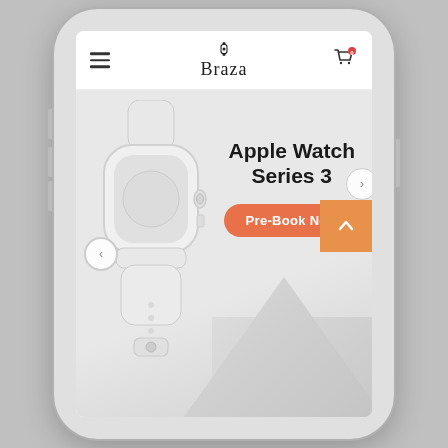[Figure (screenshot): Mobile phone (smartphone) mockup showing the Braza watch e-commerce app. The app header displays a hamburger menu on the left, the 'Braza' logo with a watch icon in the center, and a shopping cart icon with badge '0' on the right. Below is a product banner with a light gray background showing an Apple Watch Series 3, bold text reading 'Apple Watch Series 3', an orange 'Pre-Book Now' button, left and right navigation arrows, and an orange back-to-top button in the top-right corner of the banner.]